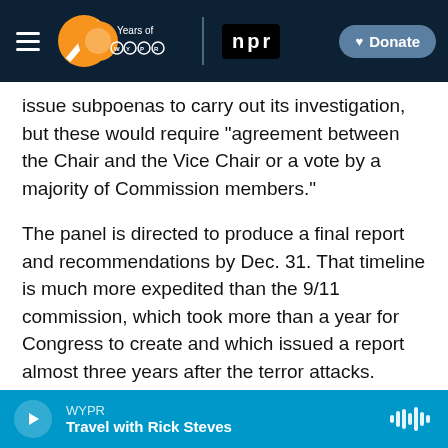WYPR 20 Years of WYPR | npr | Donate
issue subpoenas to carry out its investigation, but these would require "agreement between the Chair and the Vice Chair or a vote by a majority of Commission members."
The panel is directed to produce a final report and recommendations by Dec. 31. That timeline is much more expedited than the 9/11 commission, which took more than a year for Congress to create and which issued a report almost three years after the terror attacks.
The four-month effort to get agreement on the
WYPR | Travel with Rick Steves